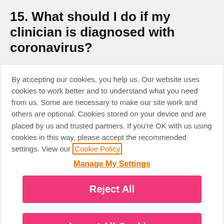15. What should I do if my clinician is diagnosed with coronavirus?
By accepting our cookies, you help us. Our website uses cookies to work better and to understand what you need from us. Some are necessary to make our site work and others are optional. Cookies stored on your device and are placed by us and trusted partners. If you're OK with us using cookies in this way, please accept the recommended settings. View our Cookie Policy
Manage My Settings
Reject All
Accept All Cookies